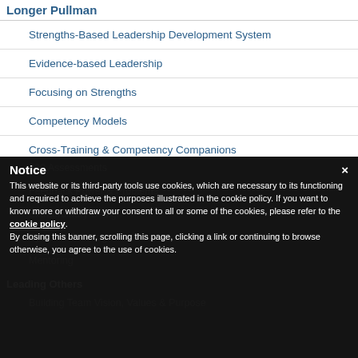Longer Pullman
Strengths-Based Leadership Development System
Evidence-based Leadership
Focusing on Strengths
Competency Models
Cross-Training & Competency Companions
360 Assessments
Feedback Power & Problems
Extraordinary Design
Systems Thinking
Mentoring
Leading Others
Building Team Vision, Values & Purpose
Notice
This website or its third-party tools use cookies, which are necessary to its functioning and required to achieve the purposes illustrated in the cookie policy. If you want to know more or withdraw your consent to all or some of the cookies, please refer to the cookie policy.
By closing this banner, scrolling this page, clicking a link or continuing to browse otherwise, you agree to the use of cookies.